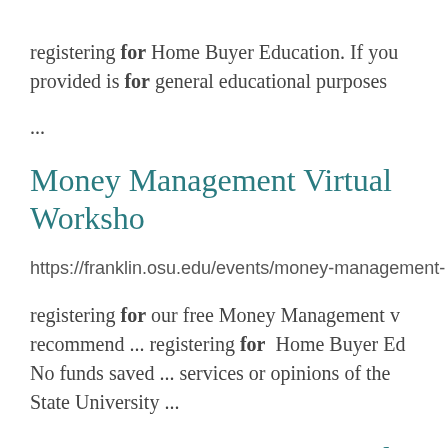registering for Home Buyer Education. If you provided is for general educational purposes ...
Money Management Virtual Worksho
https://franklin.osu.edu/events/money-management-
registering for our free Money Management v recommend ... registering for Home Buyer Ed No funds saved ... services or opinions of the State University ...
Money Management Virtual Worksho
https://franklin.osu.edu/events/money-management-
registering for our free Money Management v